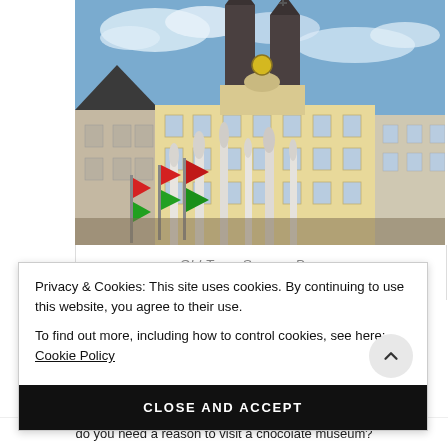[Figure (photo): Photo of Old Town Square in Prague showing historic buildings with Gothic church towers (Church of Our Lady before Týn) and colourful Baroque facades, with folded outdoor umbrellas and flags in the foreground, under a partly cloudy sky.]
Old Town Square, Prague
Privacy & Cookies: This site uses cookies. By continuing to use this website, you agree to their use.
To find out more, including how to control cookies, see here: Cookie Policy
CLOSE AND ACCEPT
do you need a reason to visit a chocolate museum?